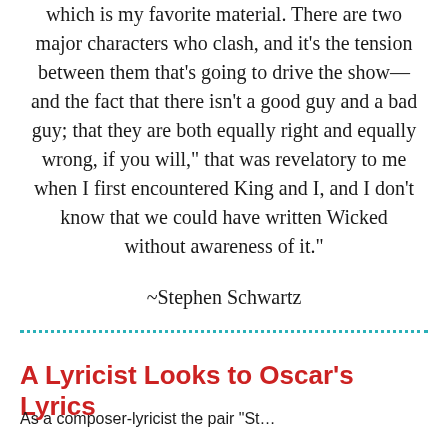which is my favorite material. There are two major characters who clash, and it’s the tension between them that’s going to drive the show—and the fact that there isn’t a good guy and a bad guy; that they are both equally right and equally wrong, if you will,” that was revelatory to me when I first encountered King and I, and I don’t know that we could have written Wicked without awareness of it.”
~Stephen Schwartz
A Lyricist Looks to Oscar’s Lyrics
As a composer-lyricist the pair “St...